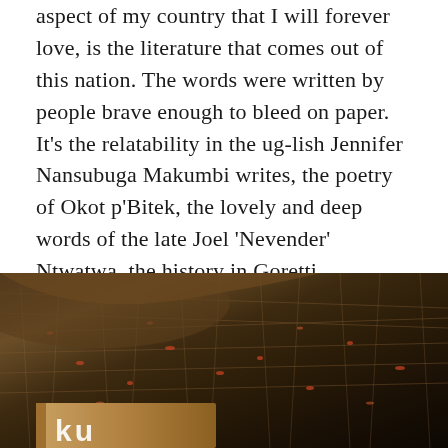aspect of my country that I will forever love, is the literature that comes out of this nation. The words were written by people brave enough to bleed on paper. It's the relatability in the ug-lish Jennifer Nansubuga Makumbi writes, the poetry of Okot p'Bitek, the lovely and deep words of the late Joel 'Nevender' Ntwatwa, the history in Goretti Kyomuhendo's work, the imagination in Rachael Mutabingwa's books, the otherworldliness of Dilman Dila's writing. And so many more that bear mentioning but the number of words can't allow.
[Figure (photo): Close-up photograph of what appears to be dried fibrous plant material or roots, with reddish/orange highlights, and the edge of a book visible at the bottom with partial white text.]